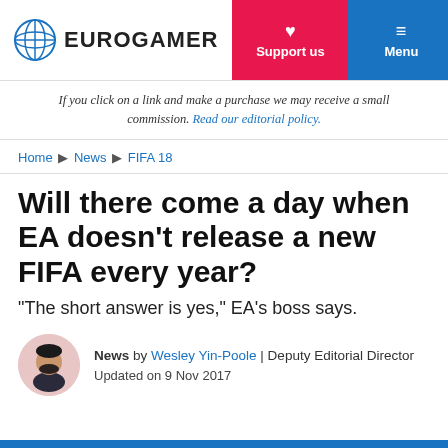EUROGAMER | Support us | Menu
If you click on a link and make a purchase we may receive a small commission. Read our editorial policy.
Home ▶ News ▶ FIFA 18
Will there come a day when EA doesn't release a new FIFA every year?
"The short answer is yes," EA's boss says.
News by Wesley Yin-Poole | Deputy Editorial Director
Updated on 9 Nov 2017